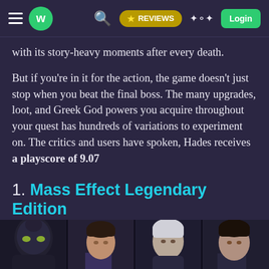w REVIEWS Login
with its story-heavy moments after every death.
But if you're in it for the action, the game doesn't just stop when you beat the final boss. The many upgrades, loot, and Greek God powers you acquire throughout your quest has hundreds of variations to experiment on. The critics and users have spoken, Hades receives a playscore of 9.07
1. Mass Effect Legendary Edition
[Figure (photo): Row of character faces/portraits from Mass Effect, partially visible at bottom of page]